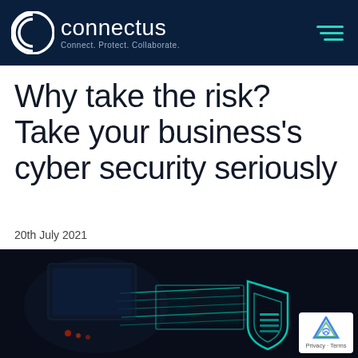connectus — Connect. Protect. Collaborate.
Why take the risk? Take your business's cyber security seriously
20th July 2021
[Figure (photo): Dark background cybersecurity themed image with teal glowing digital shield and holographic interface elements, person at keyboard in background]